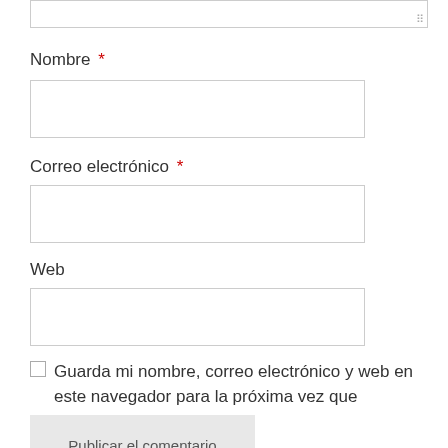[Figure (screenshot): Textarea input box (top, partially visible) with resize handle in bottom-right corner]
Nombre *
[Figure (screenshot): Empty text input box for Nombre field]
Correo electrónico *
[Figure (screenshot): Empty text input box for Correo electrónico field]
Web
[Figure (screenshot): Empty text input box for Web field]
Guarda mi nombre, correo electrónico y web en este navegador para la próxima vez que comente.
Publicar el comentario